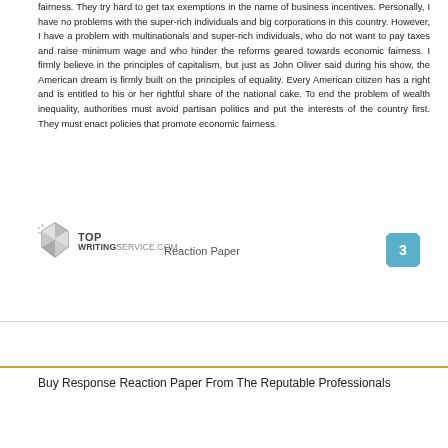fairness. They try hard to get tax exemptions in the name of business incentives. Personally, I have no problems with the super-rich individuals and big corporations in this country. However, I have a problem with multinationals and super-rich individuals, who do not want to pay taxes and raise minimum wage and who hinder the reforms geared towards economic fairness. I firmly believe in the principles of capitalism, but just as John Oliver said during his show, the American dream is firmly built on the principles of equality. Every American citizen has a right and is entitled to his or her rightful share of the national cake. To end the problem of wealth inequality, authorities must avoid partisan politics and put the interests of the country first. They must enact policies that promote economic fairness.
TOP WRITINGSERVICE.COM   Reaction Paper   3
Buy Response Reaction Paper From The Reputable Professionals